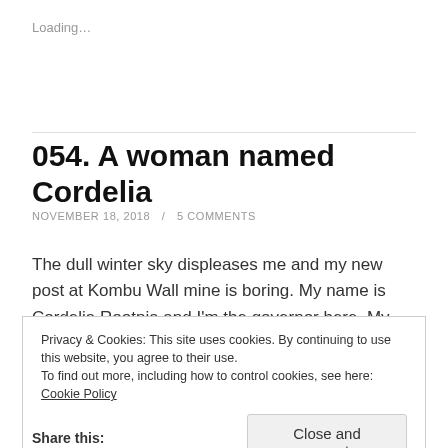Loading…
054. A woman named Cordelia
NOVEMBER 18, 2018 / 5 COMMENTS
The dull winter sky displeases me and my new post at Kombu Wall mine is boring. My name is Cordelia Rootpia and I'm the governor here. My term of office is 3
Privacy & Cookies: This site uses cookies. By continuing to use this website, you agree to their use.
To find out more, including how to control cookies, see here: Cookie Policy
Close and accept
Share this: